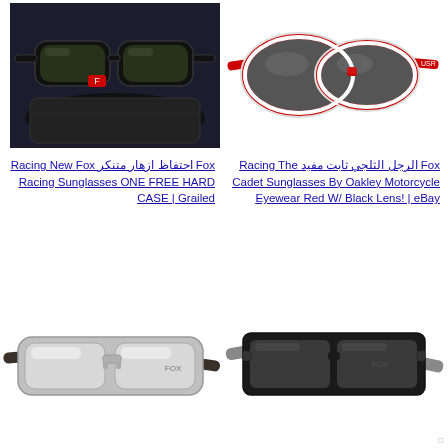[Figure (photo): Black Fox Racing sunglasses with hard case on dark background]
[Figure (photo): Red and white Oakley Cadet sunglasses with black lenses on white background]
Fox احتفاظ ازهار متنكر Racing New Fox Racing Sunglasses ONE FREE HARD CASE | Grailed
Fox الرجل الثلجي ثابت مفيد Racing The Cadet Sunglasses By Oakley Motorcycle Eyewear Red W/ Black Lens! | eBay
[Figure (photo): Silver/chrome Fox Racing sunglasses with dark arms on white background]
[Figure (photo): Black matte Fox Racing square sunglasses with grey lenses on white background]